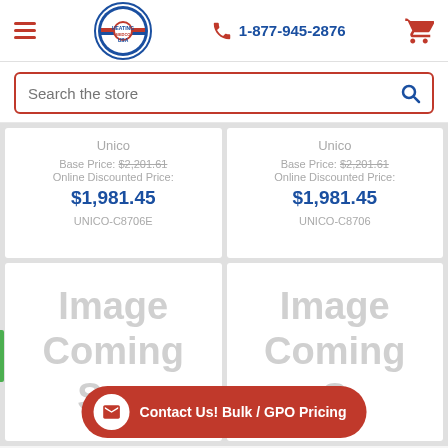1-877-945-2876
Search the store
Unico
Base Price: $2,201.61
Online Discounted Price:
$1,981.45
UNICO-C8706E
Unico
Base Price: $2,201.61
Online Discounted Price:
$1,981.45
UNICO-C8706
[Figure (other): Image Coming Soon placeholder - left product card]
[Figure (other): Image Coming Soon placeholder - right product card]
Contact Us! Bulk / GPO Pricing